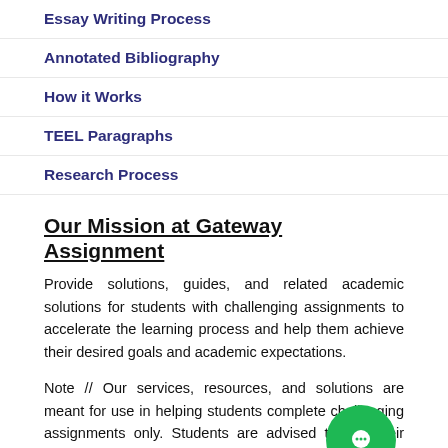Essay Writing Process
Annotated Bibliography
How it Works
TEEL Paragraphs
Research Process
Our Mission at Gateway Assignment
Provide solutions, guides, and related academic solutions for students with challenging assignments to accelerate the learning process and help them achieve their desired goals and academic expectations.
Note // Our services, resources, and solutions are meant for use in helping students complete challenging assignments only. Students are advised to cite their sources appropriately.